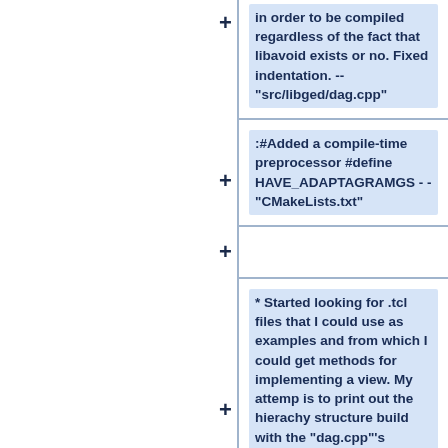in order to be compiled regardless of the fact that libavoid exists or no. Fixed indentation. -- "src/libged/dag.cpp"
:#Added a compile-time preprocessor #define HAVE_ADAPTAGRAMGS - - "CMakeLists.txt"
* Started looking for .tcl files that I could use as examples and from which I could get methods for implementing a view. My attemp is to print out the hierachy structure build with the "dag.cpp"'s methods in a user's window.